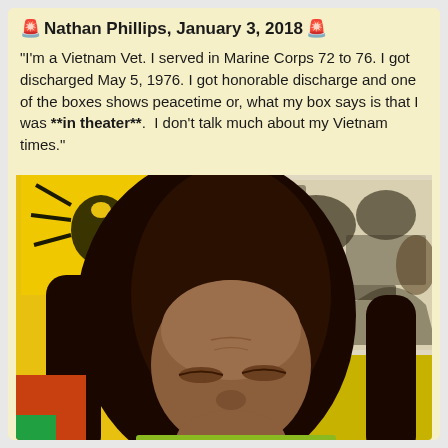🚨 Nathan Phillips, January 3, 2018 🚨
"I'm a Vietnam Vet. I served in Marine Corps 72 to 76. I got discharged May 5, 1976. I got honorable discharge and one of the boxes shows peacetime or, what my box says is that I was **in theater**. I don't talk much about my Vietnam times."
[Figure (photo): A man with long dark hair and a yellow background with colorful artwork, appearing to speak in a video. Yellow flag art visible on left, black and white mural/artwork on right.]